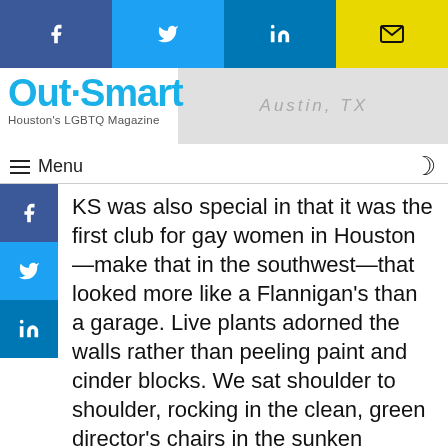[Figure (screenshot): Social share bar with Facebook (blue), Twitter (light blue), LinkedIn (dark blue), and Email (yellow) buttons]
Out Smart — Houston's LGBTQ Magazine
≡ Menu
KS was also special in that it was the first club for gay women in Houston—make that in the southwest—that looked more like a Flannigan's than a garage. Live plants adorned the walls rather than peeling paint and cinder blocks. We sat shoulder to shoulder, rocking in the clean, green director's chairs in the sunken lounge area subtly lit by the artful neon cactus. We draped over the upper railing, gazing down into the chick sea that undulated in waves beneath us. We stayed out of the fire lane, by